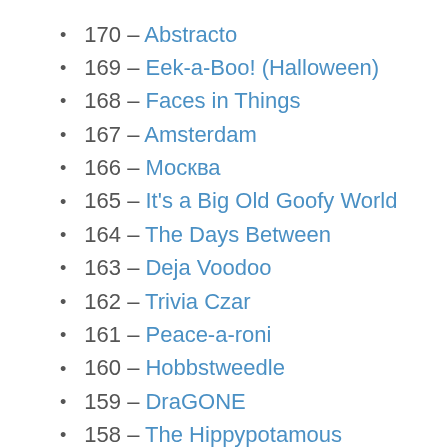170 – Abstracto
169 – Eek-a-Boo! (Halloween)
168 – Faces in Things
167 – Amsterdam
166 – Москва
165 – It's a Big Old Goofy World
164 – The Days Between
163 – Deja Voodoo
162 – Trivia Czar
161 – Peace-a-roni
160 – Hobbstweedle
159 – DraGONE
158 – The Hippypotamous
157 – The Purple Puppy
156 – The Accidental Caricature